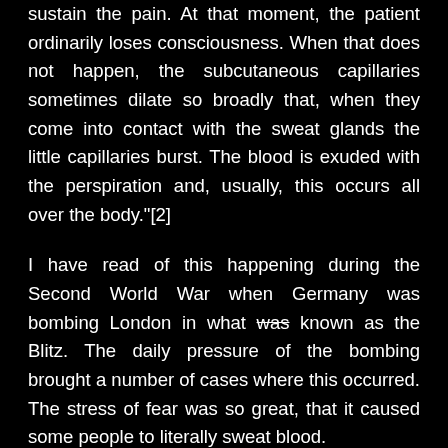sustain the pain. At that moment, the patient ordinarily loses consciousness. When that does not happen, the subcutaneous capillaries sometimes dilate so broadly that, when they come into contact with the sweat glands the little capillaries burst. The blood is exuded with the perspiration and, usually, this occurs all over the body."[2]
I have read of this happening during the Second World War when Germany was bombing London in what was known as the Blitz. The daily pressure of the bombing brought a number of cases where this occurred. The stress of fear was so great, that it caused some people to literally sweat blood.